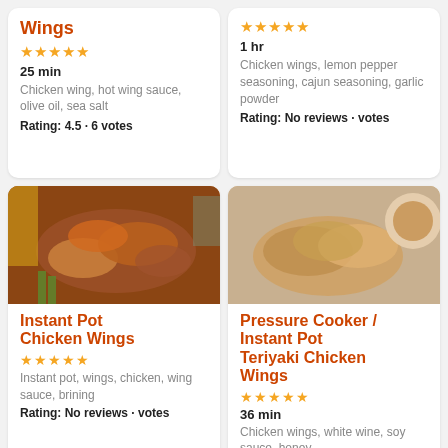Wings (card top-left title partial)
★★★★★ 25 min · Chicken wing, hot wing sauce, olive oil, sea salt · Rating: 4.5 · 6 votes
★★★★★ 1 hr · Chicken wings, lemon pepper seasoning, cajun seasoning, garlic powder · Rating: No reviews · votes
[Figure (photo): Photo of chicken wings on a plate with celery and dipping sauce]
Instant Pot Chicken Wings · ★★★★★ · Instant pot, wings, chicken, wing sauce, brining · Rating: No reviews · votes
[Figure (photo): Photo of teriyaki chicken wings in a bowl with dipping sauce]
Pressure Cooker / Instant Pot Teriyaki Chicken Wings · ★★★★★ · 36 min · Chicken wings, white wine, soy sauce, honey